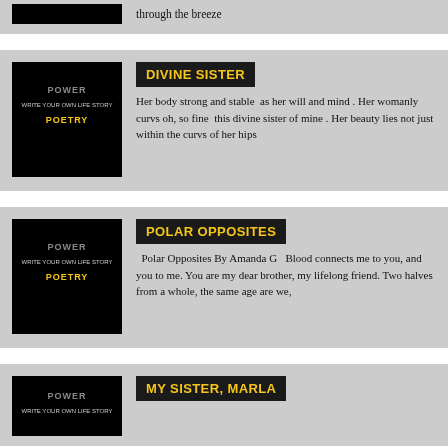through the breeze
[Figure (illustration): Power to Poetry book cover - black background with stylized text]
DIVINE SISTER
Her body strong and stable  as her will and mind . Her womanly curvs oh, so fine  this divine sister of mine . Her beauty lies not just within the curvs of her hips
[Figure (illustration): Power to Poetry book cover - black background with stylized text]
POLAR OPPOSITES
Polar Opposites By Amanda G   Blood connects me to you, and you to me. You are my dear brother, my lifelong friend. Two halves from a whole, the same age are we,
[Figure (illustration): Power to Poetry book cover - black background with stylized text]
MY SISTER, MARLA